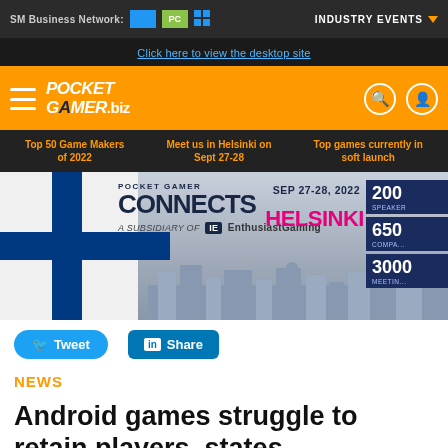SM Business Network: [logos]    INDUSTRY EVENTS ▼
Click here to view the desktop site
[Figure (logo): Pocket Gamer .biz orange header logo with hamburger menu, search and user icons]
Top 50 Game Makers of 2022   Meet us in Helsinki on Sept 27-28   Top games currently in soft launch
[Figure (infographic): Pocket Gamer Connects Helsinki SEP 27-28, 2022 advertisement banner. A subsidiary of Enthusiast Gaming. Stats: 200 SPEAKERS, 650 COMPANIES, 3000 MEETINGS.]
Tweet   Share
NEWS
Android games struggle to retain players, states